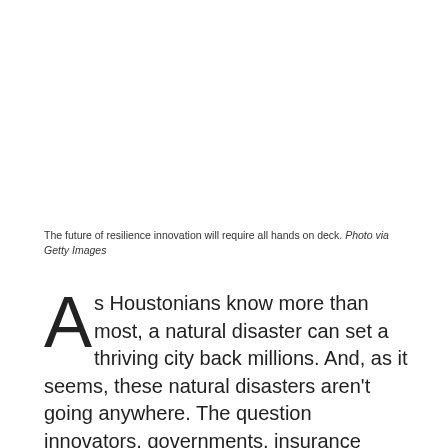The future of resilience innovation will require all hands on deck. Photo via Getty Images
As Houstonians know more than most, a natural disaster can set a thriving city back millions. And, as it seems, these natural disasters aren't going anywhere. The question innovators, governments, insurance companies, and affected citizens keep asking is "what can be done?"